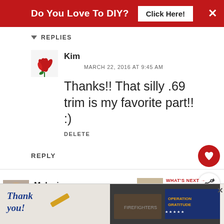Do You Love To DIY? Click Here!
REPLIES
Kim
MARCH 22, 2016 AT 9:45 AM
Thanks!! That silly .69 trim is my favorite part!! :)
DELETE
REPLY
Melanie
MARCH 18, 2016 AT 5:56 PM
What a beautiful gift from your
WHAT'S NEXT → Decorating For Fall: The...
[Figure (other): Operation Gratitude advertisement banner with Thank You text and photo of firefighters]
[Figure (other): Decorating For Fall thumbnail image]